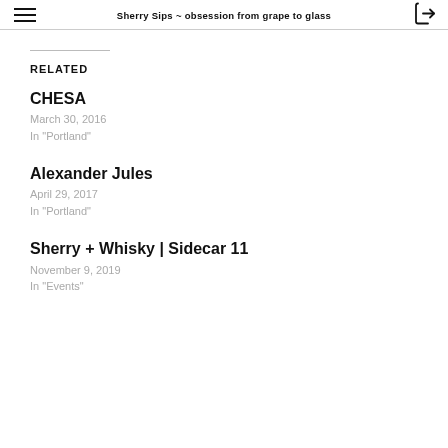Sherry Sips ~ obsession from grape to glass
RELATED
CHESA
March 30, 2016
In "Portland"
Alexander Jules
April 29, 2017
In "Portland"
Sherry + Whisky | Sidecar 11
November 9, 2019
In "Events"